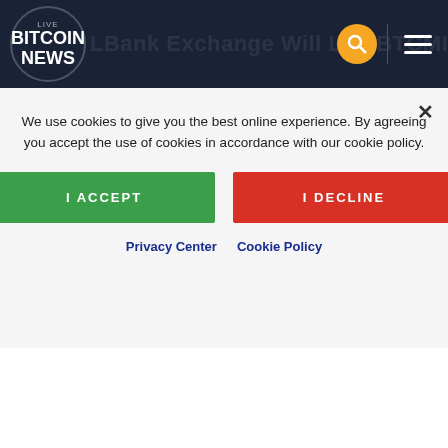LIVE BITCOIN NEWS
PRESS RELEASE
LBank Exchange Will List THANKQ (TQP) on...
August 18, 2022
[Figure (photo): Partial article image showing golden/yellow colors on the left and a character on blue background on the right]
We use cookies to give you the best online experience. By agreeing you accept the use of cookies in accordance with our cookie policy.
I ACCEPT
I DECLINE
Privacy Center  Cookie Policy